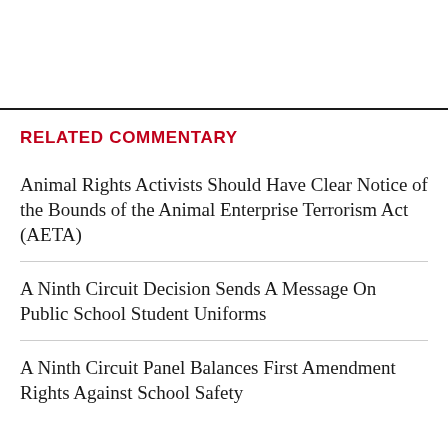RELATED COMMENTARY
Animal Rights Activists Should Have Clear Notice of the Bounds of the Animal Enterprise Terrorism Act (AETA)
A Ninth Circuit Decision Sends A Message On Public School Student Uniforms
A Ninth Circuit Panel Balances First Amendment Rights Against School Safety